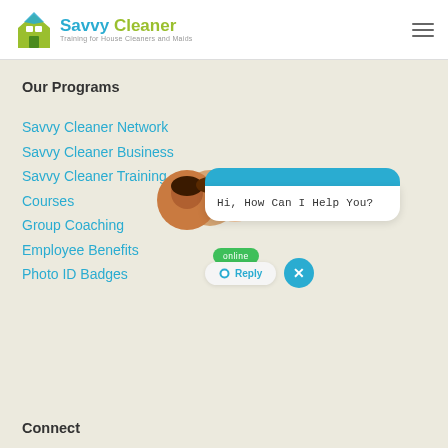[Figure (logo): Savvy Cleaner logo with house icon and text 'Savvy Cleaner - Training for House Cleaners and Maids']
Our Programs
Savvy Cleaner Network
Savvy Cleaner Business
Savvy Cleaner Training
Courses
Group Coaching
Employee Benefits
Photo ID Badges
[Figure (illustration): Three women avatars with online badge and chat widget saying 'Hi, How Can I Help You?' with Reply button and close button]
Connect